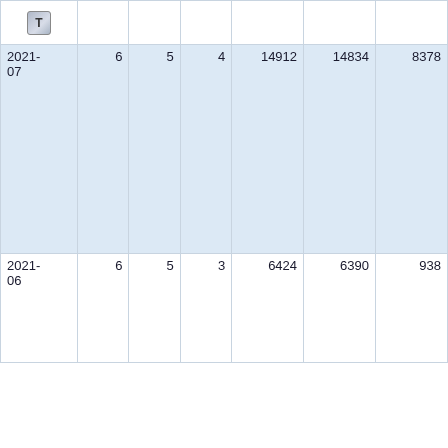|  |  |  |  |  |  |  |
| --- | --- | --- | --- | --- | --- | --- |
| 2021-07 | 6 | 5 | 4 | 14912 | 14834 | 8378 |
| 2021-06 | 6 | 5 | 3 | 6424 | 6390 | 938 |